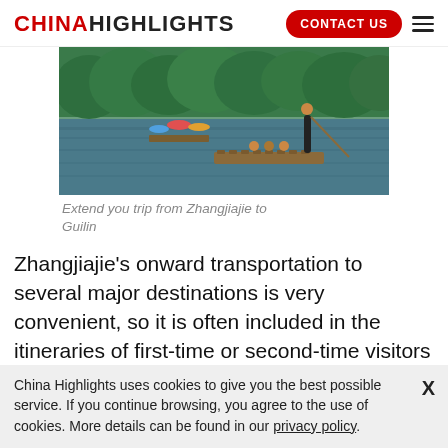CHINAHIGHLIGHTS | CONTACT US
[Figure (photo): People on bamboo rafts on a river, lush green trees in background, Guilin-style scenery]
Extend you trip from Zhangjiajie to Guilin
Zhangjiajie's onward transportation to several major destinations is very convenient, so it is often included in the itineraries of first-time or second-time visitors to China. Based on our experience customers do visit...
China Highlights uses cookies to give you the best possible service. If you continue browsing, you agree to the use of cookies. More details can be found in our privacy policy.